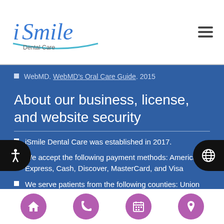iSmile Dental Care
WebMD. WebMD's Oral Care Guide. 2015
About our business, license, and website security
iSmile Dental Care was established in 2017.
We accept the following payment methods: American Express, Cash, Discover, MasterCard, and Visa
We serve patients from the following counties: Union County & Essex County
We serve patients from the following cities:
Navigation icons: home, phone, calendar, location